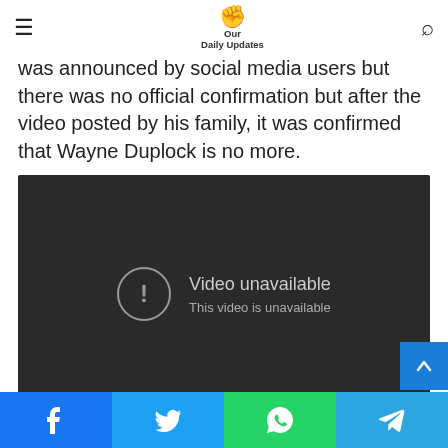Our Daily Updates
the death of the personality through a video on his Tik-Tok account, the news of his death was announced by social media users but there was no official confirmation but after the video posted by his family, it was confirmed that Wayne Duplock is no more.
[Figure (screenshot): YouTube embedded video showing 'Video unavailable - This video is unavailable' message on a dark background]
[Figure (infographic): Social media share buttons bar at the bottom: Facebook (blue), Twitter (light blue), WhatsApp (green), Telegram (blue)]